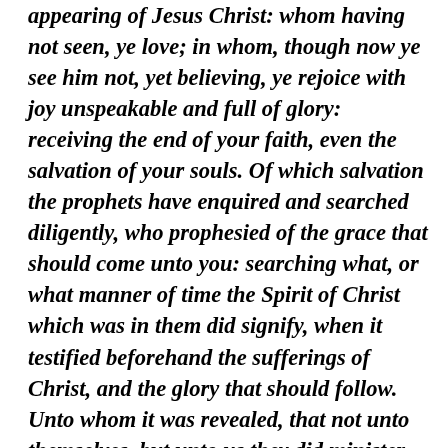appearing of Jesus Christ: whom having not seen, ye love; in whom, though now ye see him not, yet believing, ye rejoice with joy unspeakable and full of glory: receiving the end of your faith, even the salvation of your souls. Of which salvation the prophets have enquired and searched diligently, who prophesied of the grace that should come unto you: searching what, or what manner of time the Spirit of Christ which was in them did signify, when it testified beforehand the sufferings of Christ, and the glory that should follow. Unto whom it was revealed, that not unto themselves, but unto us they did minister the things, which are now reported unto you by them that have preached the gospel unto you with the Holy Ghost